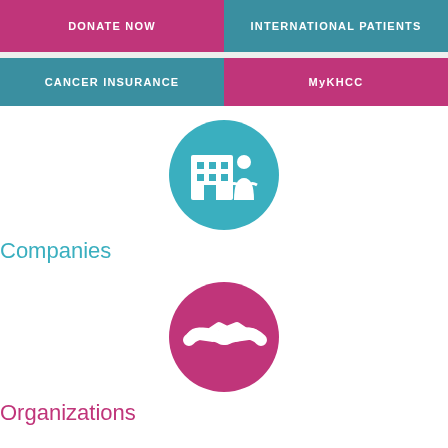DONATE NOW
INTERNATIONAL PATIENTS
CANCER INSURANCE
MyKHCC
[Figure (illustration): Teal circle icon with white building and person figure representing Companies]
Companies
[Figure (illustration): Pink/magenta circle icon with white handshake representing Organizations]
Organizations
[Figure (illustration): Gray circle icon with white figure on treadmill/exercise machine]